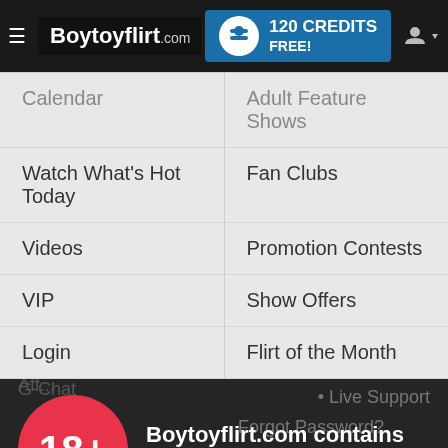Boytoyflirt.com | 120 CREDITS FREE!
Calendar | Adult Feature Shows
Watch What's Hot Today | Fan Clubs
Videos | Promotion Contests
VIP | Show Offers
Login | Flirt of the Month
Boytoyflirt.com contains adult content
By using the site, you acknowledge you have read our Privacy Policy, and agree to our Terms and Conditions.
We use cookies to optimize your experience, analyze traffic, and deliver more personalized service. To learn more, please see our Privacy Policy.
Live Support
Forgot Password?